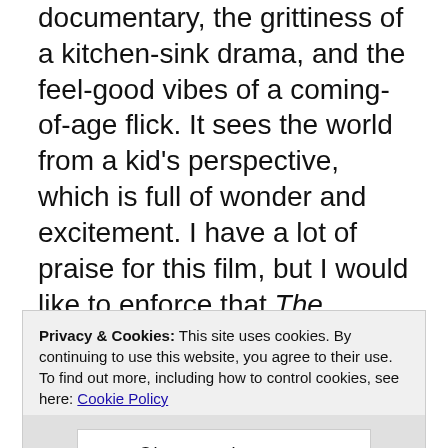documentary, the grittiness of a kitchen-sink drama, and the feel-good vibes of a coming-of-age flick. It sees the world from a kid's perspective, which is full of wonder and excitement. I have a lot of praise for this film, but I would like to enforce that The Florida Project has one of the most frustrating narratives I have ever seen. And I've seen A LOT of unorthodox movies, so I don't say that often.
Privacy & Cookies: This site uses cookies. By continuing to use this website, you agree to their use. To find out more, including how to control cookies, see here: Cookie Policy
Close and accept
bunch of young children who live in a cheap